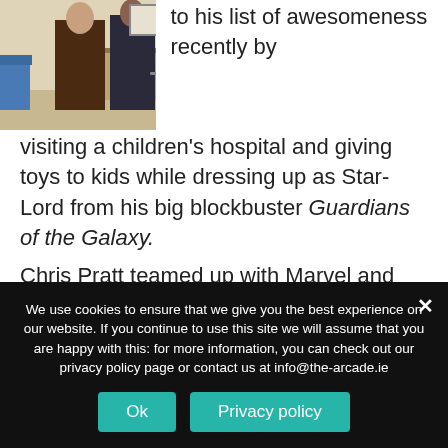[Figure (photo): Two people standing in what appears to be a hospital or clinic room. One person is wearing a brown/dark costume (Star-Lord outfit). Hospital furniture and blue chair visible in background.]
to his list of awesomeness recently by visiting a children's hospital and giving toys to kids while dressing up as Star-Lord from his big blockbuster Guardians of the Galaxy.
Chris Pratt teamed up with Marvel and Children's Miracle Network Hospital to plan the special screening for those who couldn't see Guardians of the Galaxy in theatres, according to E!
Pratt stayed at the hospital for three hours to hang out, take
We use cookies to ensure that we give you the best experience on our website. If you continue to use this site we will assume that you are happy with this: for more information, you can check out our privacy policy page or contact us at info@the-arcade.ie
Ok
Privacy policy